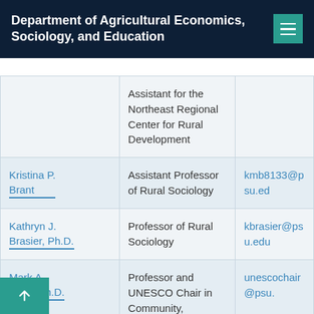Department of Agricultural Economics, Sociology, and Education
| Name | Title | Email |
| --- | --- | --- |
|  | Assistant for the Northeast Regional Center for Rural Development |  |
| Kristina P. Brant | Assistant Professor of Rural Sociology | kmb8133@psu.edu |
| Kathryn J. Brasier, Ph.D. | Professor of Rural Sociology | kbrasier@psu.edu |
| Mark A. Brennan, Ph.D. | Professor and UNESCO Chair in Community, | unescochair@psu.edu |